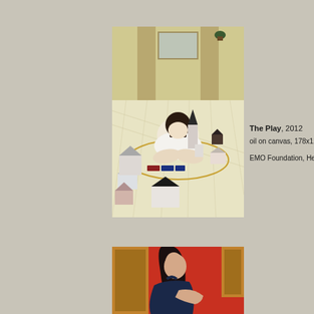[Figure (illustration): Painting titled 'The Play' (2012): A figure in a white dress sits cross-legged on a white wooden floor, surrounded by small model houses and buildings arranged in a circle with a golden ring. A church steeple, train, and various model structures are visible. The background shows pillars and a window.]
The Play, 2012
oil on canvas, 178x120 cm

EMO Foundation, Helsinki
[Figure (illustration): Partial view of a painting showing a woman with long dark hair in a dark dress seated against a bright red background. Gold-framed paintings are partially visible on the left and right.]